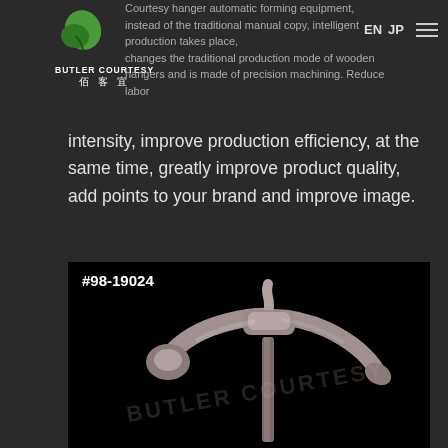Butler Courtesy logo with leaf icon, navigation links EN JP and hamburger menu
Courtesy hanger automatic forming equipment, instead of the traditional manual copy, intelligent production takes place, changes the traditional production mode of wooden hangers and is made of precision machining. Reduce labor intensity, improve production efficiency, at the same time, greatly improve product quality, add points to your brand and improve image.
[Figure (photo): Product photo of a metal clothes hanger (#98-19024) with a curved shoulder design and vertical stand, shown against a black background with BUTLER COURTESY watermark]
#98-19024